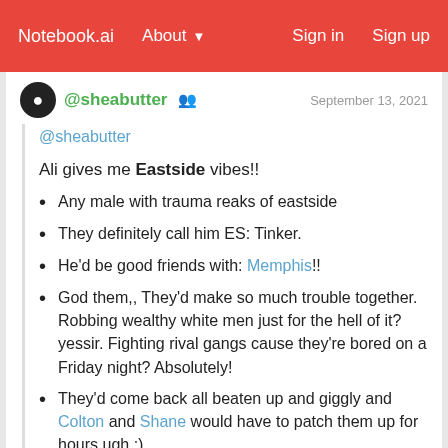Notebook.ai   About   Sign in   Sign up
@sheabutter   September 13, 2021
@sheabutter
Ali gives me Eastside vibes!!
Any male with trauma reaks of eastside
They definitely call him ES: Tinker.
He'd be good friends with: Memphis!!
God them,,  They'd make so much trouble together. Robbing wealthy white men just for the hell of it? yessir. Fighting rival gangs cause they're bored on a Friday night? Absolutely!
They'd come back all beaten up and giggly and Colton and Shane would have to patch them up for hours ugh :)